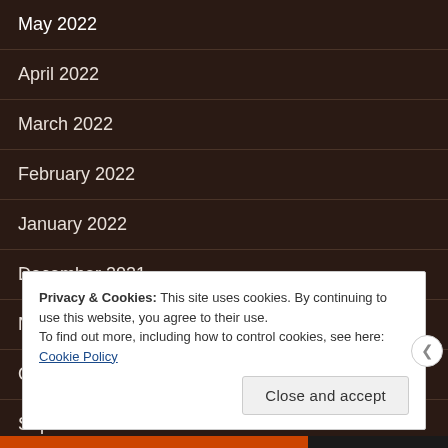May 2022
April 2022
March 2022
February 2022
January 2022
December 2021
November 2021
October 2021
September 2021
Privacy & Cookies: This site uses cookies. By continuing to use this website, you agree to their use. To find out more, including how to control cookies, see here: Cookie Policy
Close and accept